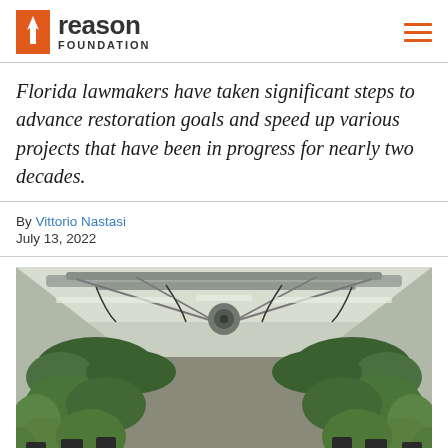Reason Foundation
Florida lawmakers have taken significant steps to advance restoration goals and speed up various projects that have been in progress for nearly two decades.
By Vittorio Nastasi
July 13, 2022
[Figure (photo): Indoor cannabis/plant growing facility with rows of green plants under artificial lighting, industrial ventilation ducts on ceiling, black pots on shelving units on both sides of a central aisle.]